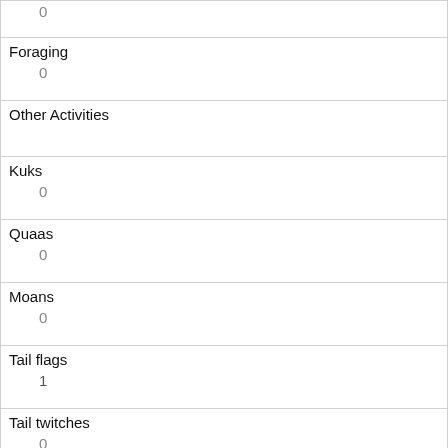| Field | Value |
| --- | --- |
| (top truncated) | 0 |
| Foraging | 0 |
| Other Activities |  |
| Kuks | 0 |
| Quaas | 0 |
| Moans | 0 |
| Tail flags | 1 |
| Tail twitches | 0 |
| Approaches | 0 |
| Indifferent | 0 |
| Runs from | 1 |